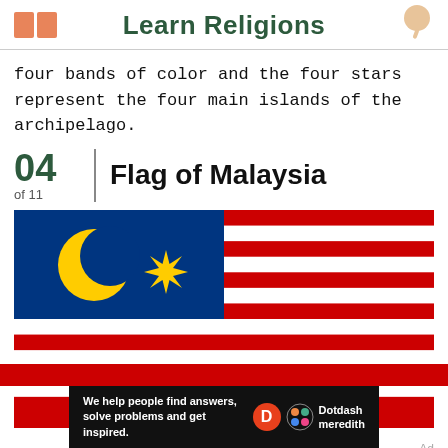Learn Religions
four bands of color and the four stars represent the four main islands of the archipelago.
04 of 11   Flag of Malaysia
[Figure (illustration): Flag of Malaysia — blue canton with yellow crescent moon and 14-pointed star; remainder has alternating red and white horizontal stripes (7 red, 7 white)]
Ad  We help people find answers, solve problems and get inspired.  Dotdash meredith